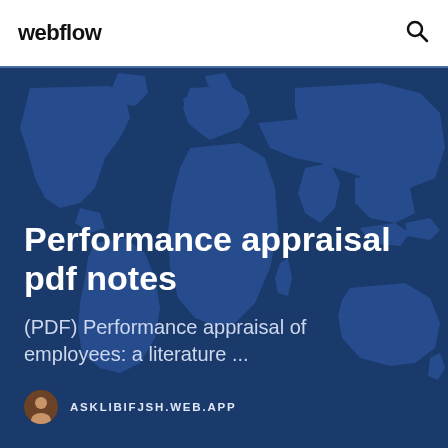webflow
[Figure (illustration): Dark blue world map background with continents silhouetted in slightly lighter blue tones, used as hero section background image]
Performance appraisal pdf notes
(PDF) Performance appraisal of employees: a literature ...
ASKLIBIFJSH.WEB.APP